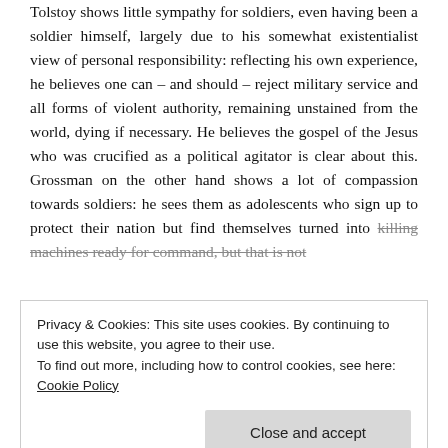Tolstoy shows little sympathy for soldiers, even having been a soldier himself, largely due to his somewhat existentialist view of personal responsibility: reflecting his own experience, he believes one can – and should – reject military service and all forms of violent authority, remaining unstained from the world, dying if necessary. He believes the gospel of the Jesus who was crucified as a political agitator is clear about this. Grossman on the other hand shows a lot of compassion towards soldiers: he sees them as adolescents who sign up to protect their nation but find themselves turned into killing machines ready for command, but that is not
Privacy & Cookies: This site uses cookies. By continuing to use this website, you agree to their use.
To find out more, including how to control cookies, see here: Cookie Policy
Until reading this book, I shared Tolstoy's lack of